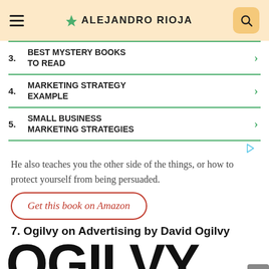ALEJANDRO RIOJA
3. BEST MYSTERY BOOKS TO READ
4. MARKETING STRATEGY EXAMPLE
5. SMALL BUSINESS MARKETING STRATEGIES
He also teaches you the other side of the things, or how to protect yourself from being persuaded.
Get this book on Amazon
7. Ogilvy on Advertising by David Ogilvy
[Figure (other): Large bold text 'OGILVY' partially visible at the bottom of the page]